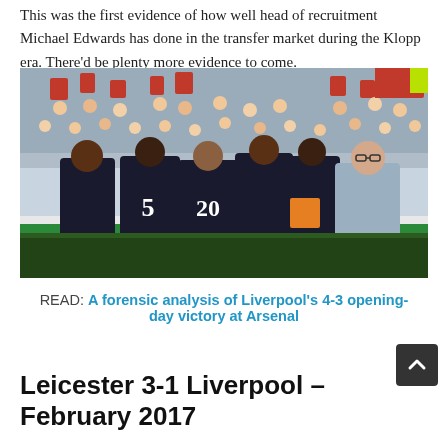This was the first evidence of how well head of recruitment Michael Edwards has done in the transfer market during the Klopp era. There'd be plenty more evidence to come.
[Figure (photo): Liverpool players celebrating a goal with manager Jurgen Klopp on the touchline at Arsenal. Players wearing dark jerseys with numbers 5 and 20 visible, crowd in background with red Arsenal shirts.]
READ: A forensic analysis of Liverpool's 4-3 opening-day victory at Arsenal
Leicester 3-1 Liverpool – February 2017